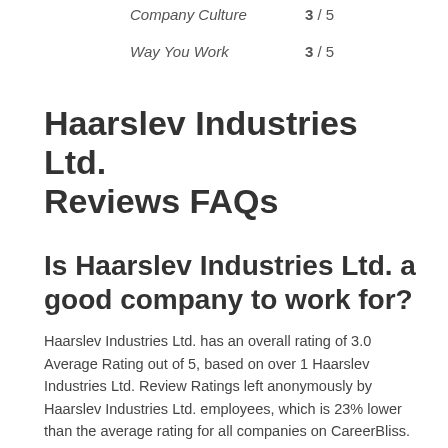Company Culture   3 / 5
Way You Work   3 / 5
Haarslev Industries Ltd. Reviews FAQs
Is Haarslev Industries Ltd. a good company to work for?
Haarslev Industries Ltd. has an overall rating of 3.0 Average Rating out of 5, based on over 1 Haarslev Industries Ltd. Review Ratings left anonymously by Haarslev Industries Ltd. employees, which is 23% lower than the average rating for all companies on CareerBliss. 100% of employees would recommend working at Haarslev Industries Ltd..